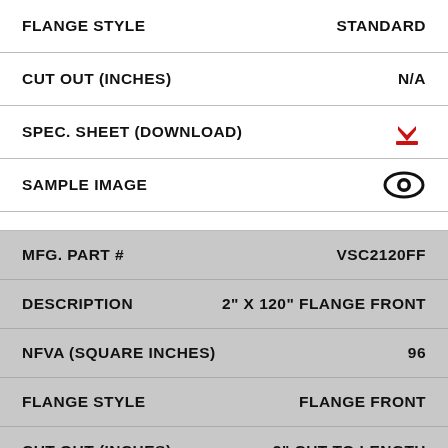| Field | Value |
| --- | --- |
| FLANGE STYLE | STANDARD |
| CUT OUT (INCHES) | N/A |
| SPEC. SHEET (DOWNLOAD) | [download icon] |
| SAMPLE IMAGE | [eye icon] |
| MFG. PART # | VSC2120FF |
| DESCRIPTION | 2" X 120" FLANGE FRONT |
| NFVA (SQUARE INCHES) | 96 |
| FLANGE STYLE | FLANGE FRONT |
| CUT OUT (INCHES) | 2" CUT TO LENGTH |
| SPEC. SHEET (DOWNLOAD) | [download icon] |